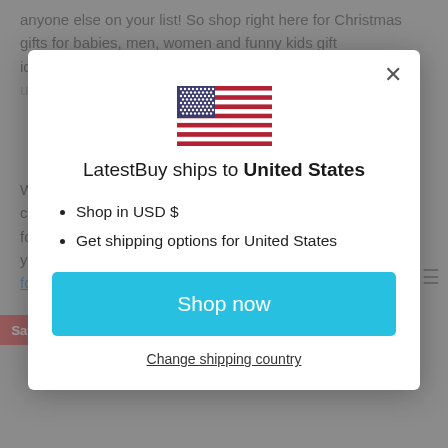anyone else on your list! So shop right here for Christmas gifts for babies, men, women and funny kids gift ideas...shopping for Christmas h... gi...
[Figure (illustration): US flag icon centered at top of modal dialog]
LatestBuy ships to United States
Shop in USD $
Get shipping options for United States
Shop now
Change shipping country